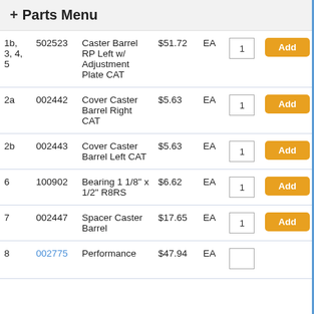+ Parts Menu
| Ref | Part# | Description | Price | Unit | Qty | Action |
| --- | --- | --- | --- | --- | --- | --- |
| 1b, 3, 4, 5 | 502523 | Caster Barrel RP Left w/ Adjustment Plate CAT | $51.72 | EA | 1 | Add |
| 2a | 002442 | Cover Caster Barrel Right CAT | $5.63 | EA | 1 | Add |
| 2b | 002443 | Cover Caster Barrel Left CAT | $5.63 | EA | 1 | Add |
| 6 | 100902 | Bearing 1 1/8" x 1/2" R8RS | $6.62 | EA | 1 | Add |
| 7 | 002447 | Spacer Caster Barrel | $17.65 | EA | 1 | Add |
| 8 | 002775 | Performance | $47.94 | EA |  |  |